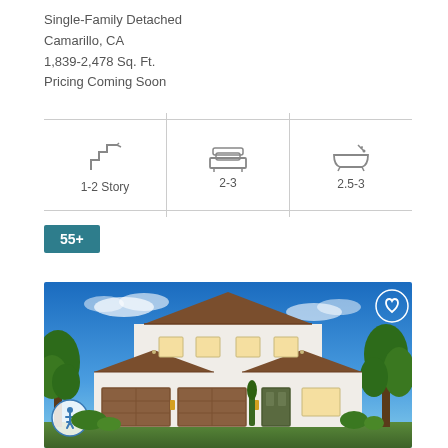Single-Family Detached
Camarillo, CA
1,839-2,478 Sq. Ft.
Pricing Coming Soon
[Figure (infographic): Three-column feature row with icons: staircase icon labeled '1-2 Story', bed icon labeled '2-3', bathtub icon labeled '2.5-3']
55+
[Figure (photo): Exterior rendering of a large two-story Spanish-style single-family home with brown tile roof, white stucco walls, green trees on both sides, against a blue sky. Accessibility icon badge in bottom-left corner, heart/favorite icon in top-right corner.]